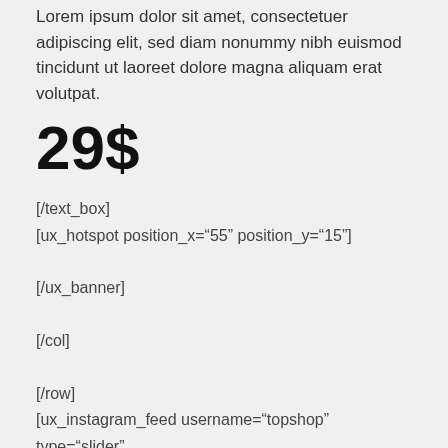Lorem ipsum dolor sit amet, consectetuer adipiscing elit, sed diam nonummy nibh euismod tincidunt ut laoreet dolore magna aliquam erat volutpat.
29$
[/text_box]
[ux_hotspot position_x="55" position_y="15"]

[/ux_banner]

[/col]

[/row]
[ux_instagram_feed username="topshop" type="slider" slider_nav_style="simple" slider_nav_color="light" width="full-width" columns="7"]